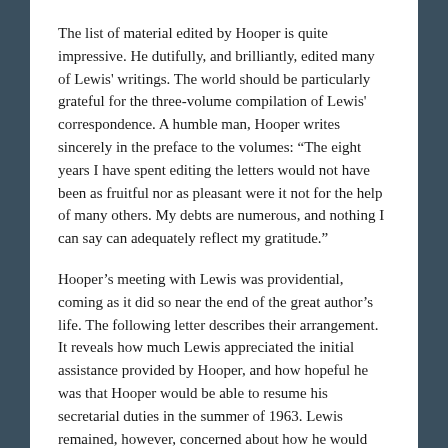The list of material edited by Hooper is quite impressive. He dutifully, and brilliantly, edited many of Lewis' writings. The world should be particularly grateful for the three-volume compilation of Lewis' correspondence. A humble man, Hooper writes sincerely in the preface to the volumes: “The eight years I have spent editing the letters would not have been as fruitful nor as pleasant were it not for the help of many others. My debts are numerous, and nothing I can say can adequately reflect my gratitude.”
Hooper’s meeting with Lewis was providential, coming as it did so near the end of the great author’s life. The following letter describes their arrangement. It reveals how much Lewis appreciated the initial assistance provided by Hooper, and how hopeful he was that Hooper would be able to resume his secretarial duties in the summer of 1963. Lewis remained, however, concerned about how he would meet all of his financial responsibilities in the wake of his medical retirement.
[The Kilns] 20 Sept 63